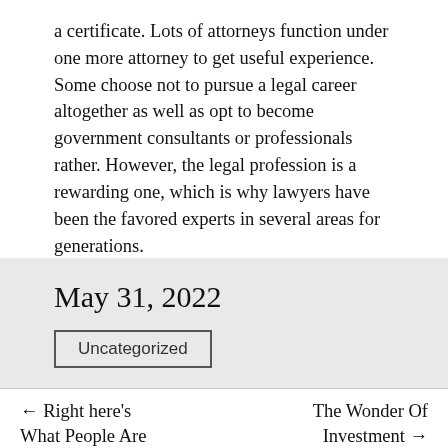a certificate. Lots of attorneys function under one more attorney to get useful experience. Some choose not to pursue a legal career altogether as well as opt to become government consultants or professionals rather. However, the legal profession is a rewarding one, which is why lawyers have been the favored experts in several areas for generations.
May 31, 2022
Uncategorized
← Right here's What People Are
The Wonder Of Investment →